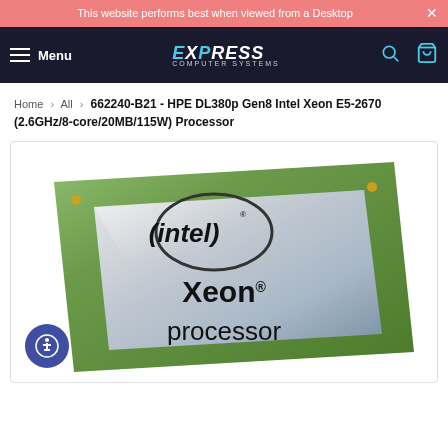This website performs best when viewed from a Desktop
[Figure (screenshot): Express Computer Systems navigation bar with hamburger menu, logo, search and cart icons on dark background]
Home > All > 662240-B21 - HPE DL380p Gen8 Intel Xeon E5-2670 (2.6GHz/8-core/20MB/115W) Processor
[Figure (photo): Intel Xeon processor chip photo showing the intel logo and 'Xeon processor' text on a silver integrated circuit with green PCB edges]